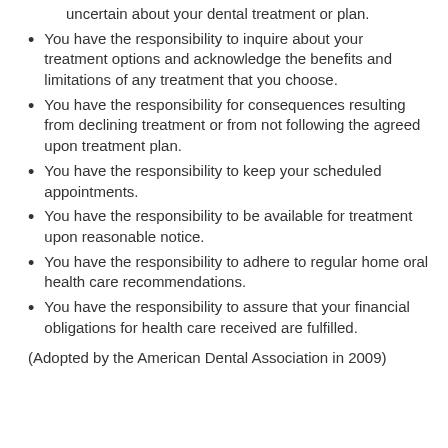uncertain about your dental treatment or plan.
You have the responsibility to inquire about your treatment options and acknowledge the benefits and limitations of any treatment that you choose.
You have the responsibility for consequences resulting from declining treatment or from not following the agreed upon treatment plan.
You have the responsibility to keep your scheduled appointments.
You have the responsibility to be available for treatment upon reasonable notice.
You have the responsibility to adhere to regular home oral health care recommendations.
You have the responsibility to assure that your financial obligations for health care received are fulfilled.
(Adopted by the American Dental Association in 2009)